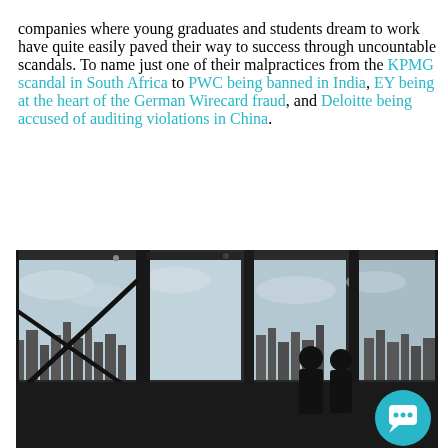companies where young graduates and students dream to work have quite easily paved their way to success through uncountable scandals. To name just one of their malpractices from the KPMG scandal in South Africa to PWC being banned in India, EY being at the heart of the German Wirecard fraud, and Deloitte being accused of auditing violations in China.
[Figure (photo): Black and white photograph showing silhouettes of two people standing in front of large floor-to-ceiling windows in a high-rise building, with a city skyline visible in the background. The interior has exposed ceiling structure. A teal chat bubble button overlays the bottom-right corner.]